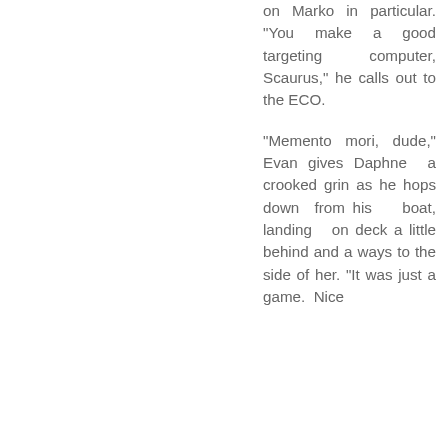on Marko in particular. "You make a good targeting computer, Scaurus," he calls out to the ECO.

"Memento mori, dude," Evan gives Daphne a crooked grin as he hops down from his boat, landing on deck a little behind and a ways to the side of her. "It was just a game. Nice